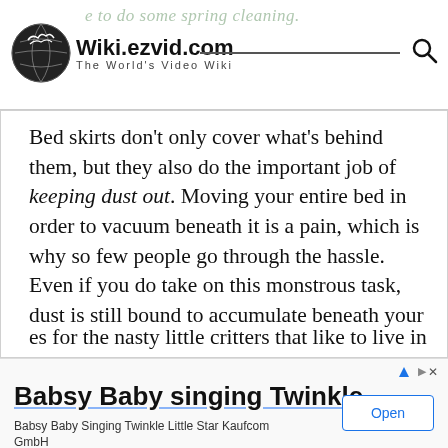Wiki.ezvid.com — The World's Video Wiki
Bed skirts don't only cover what's behind them, but they also do the important job of keeping dust out. Moving your entire bed in order to vacuum beneath it is a pain, which is why so few people go through the hassle. Even if you do take on this monstrous task, dust is still bound to accumulate beneath your bed more than it does in other areas. Where there is dust, there are dust mites, and those will irritate allergies tremendously. Bed skirts prevent piles of dust from blowing beneath your bed, creating es for the nasty little critters that like to live in
[Figure (other): Advertisement banner: Babsy Baby singing Twinkle — Babsy Baby Singing Twinkle Little Star Kaufcom GmbH, with Open button]